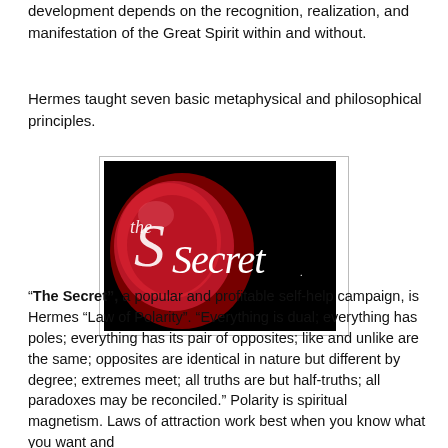development depends on the recognition, realization, and manifestation of the Great Spirit within and without.
Hermes taught seven basic metaphysical and philosophical principles.
[Figure (illustration): Logo image for 'The Secret' showing a red wax seal on a black background with cursive white text reading 'the Secret']
“The Secret”, a popular and profitable self-help campaign, is Hermes “Law of Polarity”. “Everything is dual; everything has poles; everything has its pair of opposites; like and unlike are the same; opposites are identical in nature but different by degree; extremes meet; all truths are but half-truths; all paradoxes may be reconciled.” Polarity is spiritual magnetism. Laws of attraction work best when you know what you want and